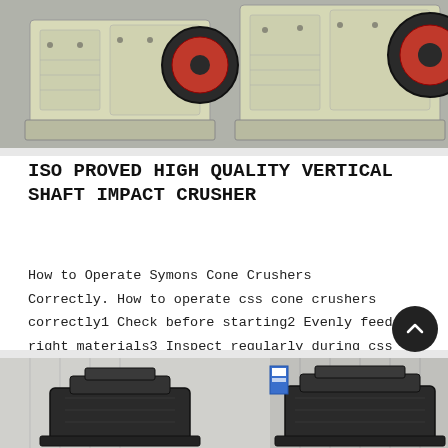[Figure (photo): Two large beige/cream-colored vertical shaft impact crushers sitting on a grey concrete floor outdoors]
ISO PROVED HIGH QUALITY VERTICAL SHAFT IMPACT CRUSHER
How to Operate Symons Cone Crushers Correctly. How to operate css cone crushers correctly1 Check before starting2 Evenly feed right materials3 Inspect regularly during css crushers production
[Figure (photo): Two dark grey/black cone crushers inside an industrial warehouse setting]